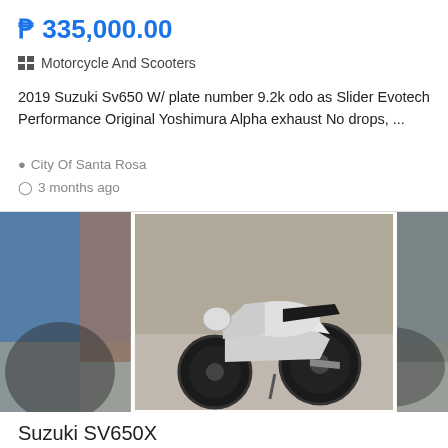₱ 335,000.00
Motorcycle And Scooters
2019 Suzuki Sv650 W/ plate number 9.2k odo as Slider Evotech Performance Original Yoshimura Alpha exhaust No drops, ...
City Of Santa Rosa
3 months ago
[Figure (photo): Suzuki SV650X motorcycle photo, showing a black and white sport motorcycle parked in a workshop/garage area. A central inset image with white border shows the motorcycle clearly.]
Suzuki SV650X
₱ 390,000.00
Motorcycle And Scooters